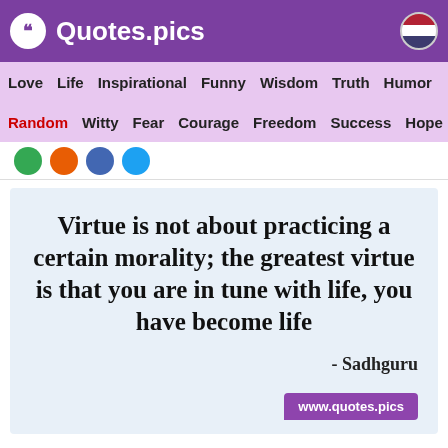Quotes.pics
Love  Life  Inspirational  Funny  Wisdom  Truth  Humor
Random  Witty  Fear  Courage  Freedom  Success  Hope
[Figure (screenshot): Quote card with light blue background showing a quote by Sadhguru and www.quotes.pics watermark]
“Virtue is not about practicing a certain